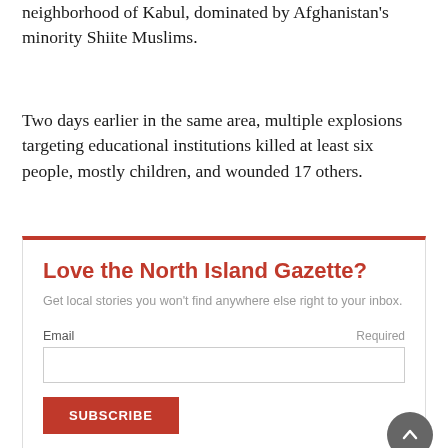neighborhood of Kabul, dominated by Afghanistan's minority Shiite Muslims.
Two days earlier in the same area, multiple explosions targeting educational institutions killed at least six people, mostly children, and wounded 17 others.
[Figure (other): Newsletter subscription box with orange/red border top, title 'Love the North Island Gazette?', subtitle text, email input field, and SUBSCRIBE button.]